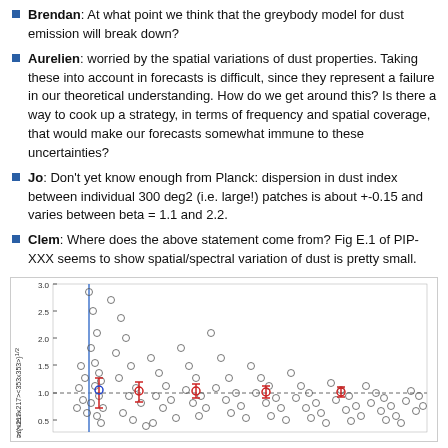Brendan: At what point we think that the greybody model for dust emission will break down?
Aurelien: worried by the spatial variations of dust properties. Taking these into account in forecasts is difficult, since they represent a failure in our theoretical understanding. How do we get around this? Is there a way to cook up a strategy, in terms of frequency and spatial coverage, that would make our forecasts somewhat immune to these uncertainties?
Jo: Don't yet know enough from Planck: dispersion in dust index between individual 300 deg2 (i.e. large!) patches is about +-0.15 and varies between beta = 1.1 and 2.2.
Clem: Where does the above statement come from? Fig E.1 of PIP-XXX seems to show spatial/spectral variation of dust is pretty small.
[Figure (scatter-plot): Scatter plot showing data points (open circles) with y-axis label <217x353>/(<217x217><353x353>)^(1/2) ranging from about 0.5 to 3.0, x-axis not fully visible. A vertical blue line near x~0.02, a dashed horizontal line at y=1.0, and red error bar markers at various x positions are shown.]